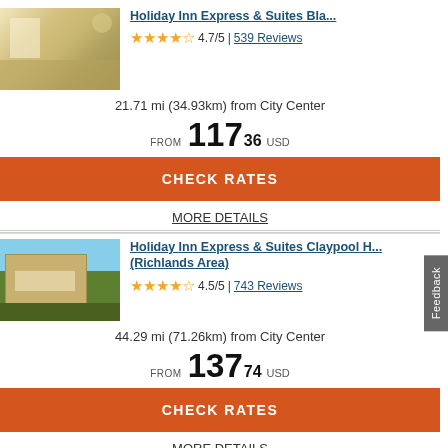[Figure (photo): Hotel lobby interior photo]
Holiday Inn Express & Suites Bla...
4.7/5 | 539 Reviews
21.71 mi (34.93km) from City Center
FROM 117 36 USD
CHECK RATES
MORE DETAILS
[Figure (photo): Holiday Inn Express & Suites Claypool Hill exterior photo]
Holiday Inn Express & Suites Claypool Hill (Richlands Area)
4.5/5 | 743 Reviews
44.29 mi (71.26km) from City Center
FROM 137 74 USD
CHECK RATES
MORE DETAILS